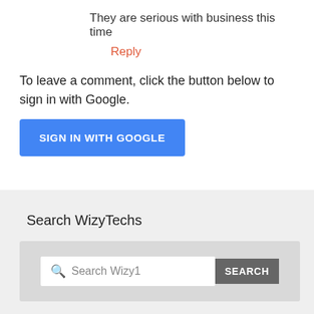They are serious with business this time
Reply
To leave a comment, click the button below to sign in with Google.
[Figure (screenshot): Blue 'SIGN IN WITH GOOGLE' button]
Search WizyTechs
[Figure (screenshot): Search widget with text input 'Search Wizy1' and a gray SEARCH button]
LIKE US ON FACEBOOK